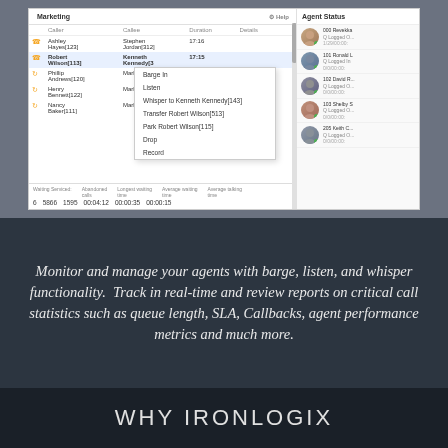[Figure (screenshot): Screenshot of a call center management application showing a Marketing queue with caller/callee table, a context menu with options (Barge In, Listen, Whisper to Kenneth Kennedy[143], Transfer Robert Wilson[513], Park Robert Wilson[115], Drop, Record), call statistics bar at bottom (Waiting/Serviced: 6, Abandoned calls: 5866, 1595, Longest waiting time: 00:04:12, Average waiting time: 00:00:35, Average talking time: 00:00:15), and an Agent Status panel on the right showing agents (000 Revekka, 101 Ronald, 102 David R, 103 Shelby S, 205 Keith C) with logged in status.]
Monitor and manage your agents with barge, listen, and whisper functionality.  Track in real-time and review reports on critical call statistics such as queue length, SLA, Callbacks, agent performance metrics and much more.
WHY IRONLOGIX